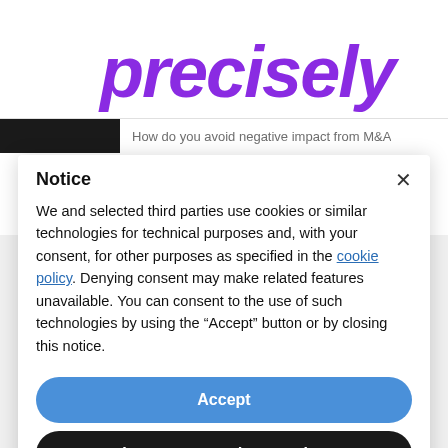[Figure (logo): Precisely company logo in bold purple italic font on white background]
[Figure (screenshot): Partially visible website header bar with dark image thumbnail and blurred text reading 'How do you avoid negative impact from M&A']
Notice
We and selected third parties use cookies or similar technologies for technical purposes and, with your consent, for other purposes as specified in the cookie policy. Denying consent may make related features unavailable. You can consent to the use of such technologies by using the “Accept” button or by closing this notice.
Accept
Learn more and customise